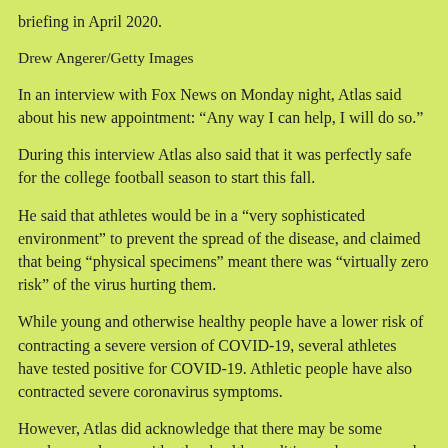briefing in April 2020.
Drew Angerer/Getty Images
In an interview with Fox News on Monday night, Atlas said about his new appointment: “Any way I can help, I will do so.”
During this interview Atlas also said that it was perfectly safe for the college football season to start this fall.
He said that athletes would be in a “very sophisticated environment” to prevent the spread of the disease, and claimed that being “physical specimens” meant there was “virtually zero risk” of the virus hurting them.
While young and otherwise healthy people have a lower risk of contracting a severe version of COVID-19, several athletes have tested positive for COVID-19. Athletic people have also contracted severe coronavirus symptoms.
However, Atlas did acknowledge that there may be some coaches or players with other health conditions who may need to sit the season out.
“There is such fear in the community and unfortunately it’s been propagated by people who are doing some really sloppy thinking